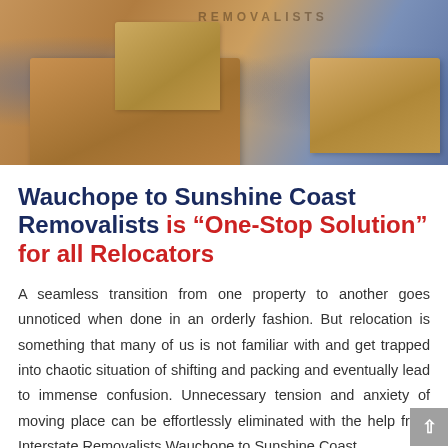[Figure (photo): Photo of cardboard moving boxes stacked together with a person in blue visible in the background, and text 'REMOVALISTS' visible on one box]
Wauchope to Sunshine Coast Removalists is “One-Stop Solution” for all Relocators
A seamless transition from one property to another goes unnoticed when done in an orderly fashion. But relocation is something that many of us is not familiar with and get trapped into chaotic situation of shifting and packing and eventually lead to immense confusion. Unnecessary tension and anxiety of moving place can be effortlessly eliminated with the help from Interstate Removalists Wauchope to Sunshine Coast.